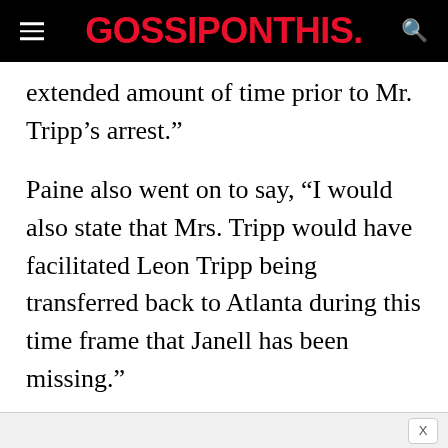GOSSIPONTHIS.
extended amount of time prior to Mr. Tripp’s arrest.”
Paine also went on to say, “I would also state that Mrs. Tripp would have facilitated Leon Tripp being transferred back to Atlanta during this time frame that Janell has been missing.”